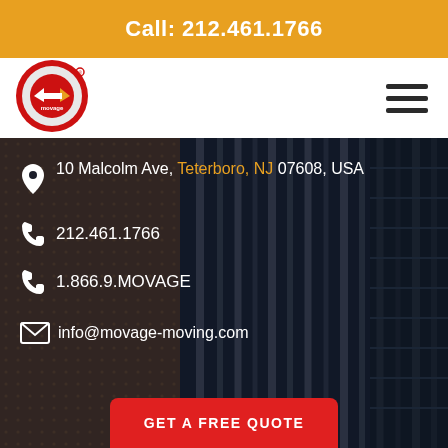Call: 212.461.1766
[Figure (logo): Movage moving and storage company logo — red circle with arrow and text]
10 Malcolm Ave, Teterboro, NJ 07608, USA
212.461.1766
1.866.9.MOVAGE
info@movage-moving.com
GET A FREE QUOTE